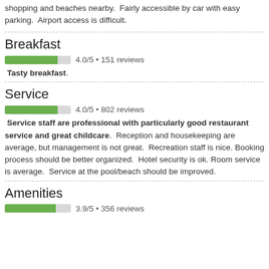Great location. Excellent location with good bars, restaurants, shopping and beaches nearby. Fairly accessible by car with easy parking. Airport access is difficult.
Breakfast
[Figure (other): Horizontal progress bar showing 4.0/5 rating for Breakfast, 151 reviews]
Tasty breakfast.
Service
[Figure (other): Horizontal progress bar showing 4.0/5 rating for Service, 802 reviews]
Service staff are professional with particularly good restaurant service and great childcare. Reception and housekeeping are average, but management is not great. Recreation staff is nice. Booking process should be better organized. Hotel security is ok. Room service is average. Service at the pool/beach should be improved.
Amenities
[Figure (other): Horizontal progress bar showing 3.9/5 rating for Amenities, 356 reviews]